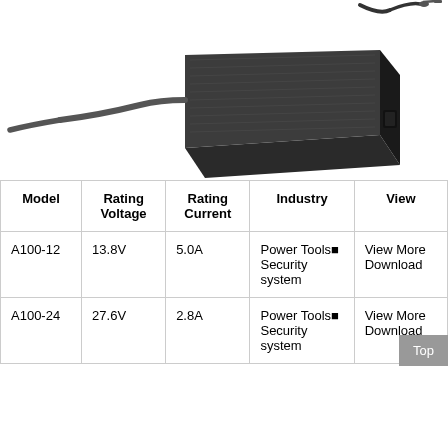[Figure (photo): Black rectangular laptop/device power adapter with a cord and connector tip, photographed at an angle against a white background.]
| Model | Rating Voltage | Rating Current | Industry | View |
| --- | --- | --- | --- | --- |
| A100-12 | 13.8V | 5.0A | Power Tools■ Security system | View More Download |
| A100-24 | 27.6V | 2.8A | Power Tools■ Security system | View More Download |